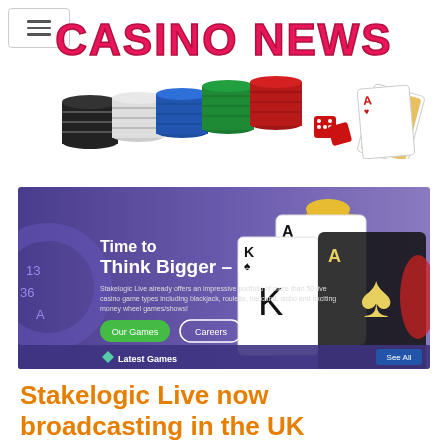[Figure (logo): Casino News website logo with pink/red bold text and casino chips image below]
[Figure (screenshot): Casino gaming website banner showing 'Time to Think Bigger - LIVE!' with playing cards, roulette, chips, Our Games and Careers buttons, Latest Games section and See All button]
Stakelogic Live now broadcasting in the UK